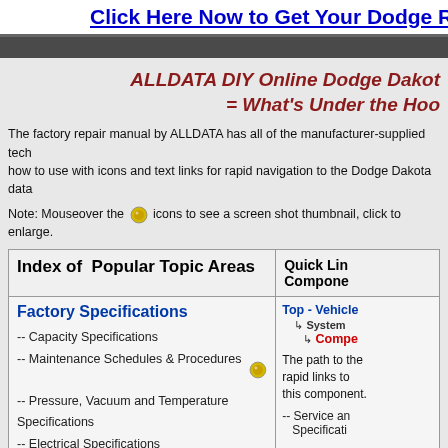Click Here Now to Get Your Dodge R
ALLDATA DIY Online Dodge Dakota = What's Under the Hood
The factory repair manual by ALLDATA has all of the manufacturer-supplied tech how to use with icons and text links for rapid navigation to the Dodge Dakota data
Note: Mouseover the [icon] icons to see a screen shot thumbnail, click to enlarge.
| Index of Popular Topic Areas | Quick Links Components |
| --- | --- |
| Factory Specifications
-- Capacity Specifications
-- Maintenance Schedules & Procedures
-- Pressure, Vacuum and Temperature Specifications
-- Electrical Specifications
-- Mechanical Specifications
-- Fluid Type Specifications
-- VIN Definitions | Top - Vehicle System
↳ System
↳ Compe...
The path to the rapid links to this component.
-- Service and Specificati... |